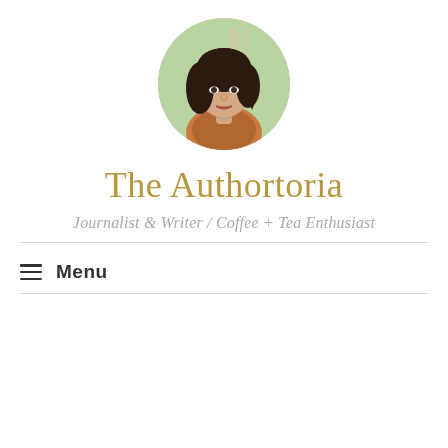[Figure (photo): Circular portrait photo of a woman with dark wavy hair, wearing a floral top, outdoor background with greenery.]
The Authortoria
Journalist & Writer / Coffee + Tea Enthusiast
≡ Menu